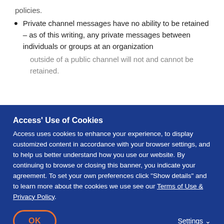policies.
Private channel messages have no ability to be retained – as of this writing, any private messages between individuals or groups at an organization outside of a public channel will not and cannot be retained.
Teams have more retention settings than other [faded/obscured text]
[faded text] able to [faded] ards.
[faded] on service load, it may take up to seven days to permanently delete chat and channel [faded] backend storage and the Teams app and will remain searchable with any compliance tools
Access' Use of Cookies
Access uses cookies to enhance your experience, to display customized content in accordance with your browser settings, and to help us better understand how you use our website. By continuing to browse or closing this banner, you indicate your agreement. To set your own preferences click "Show details" and to learn more about the cookies we use see our Terms of Use & Privacy Policy.